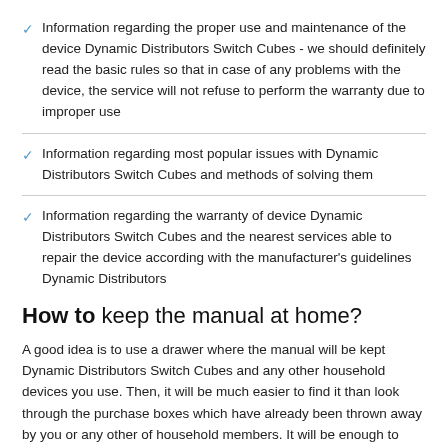Information regarding the proper use and maintenance of the device Dynamic Distributors Switch Cubes - we should definitely read the basic rules so that in case of any problems with the device, the service will not refuse to perform the warranty due to improper use
Information regarding most popular issues with Dynamic Distributors Switch Cubes and methods of solving them
Information regarding the warranty of device Dynamic Distributors Switch Cubes and the nearest services able to repair the device according with the manufacturer's guidelines Dynamic Distributors
How to keep the manual at home?
A good idea is to use a drawer where the manual will be kept Dynamic Distributors Switch Cubes and any other household devices you use. Then, it will be much easier to find it than look through the purchase boxes which have already been thrown away by you or any other of household members. It will be enough to clear the drawer once in a